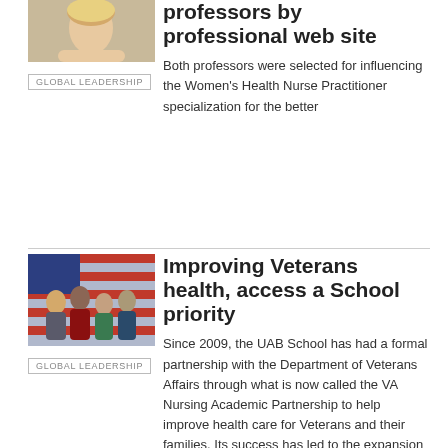[Figure (photo): Headshot of a woman with blonde hair]
GLOBAL LEADERSHIP
professors by professional web site
Both professors were selected for influencing the Women's Health Nurse Practitioner specialization for the better
[Figure (photo): Group of people in military and medical uniforms in front of American flag]
GLOBAL LEADERSHIP
Improving Veterans health, access a School priority
Since 2009, the UAB School has had a formal partnership with the Department of Veterans Affairs through what is now called the VA Nursing Academic Partnership to help improve health care for Veterans and their families. Its success has led to the expansion of additional education, research and clinical practice initiatives, all aimed at bettering the lives of America's heroes.
[Figure (photo): Headshot of a woman in front of brick wall]
UAB School of Nursing